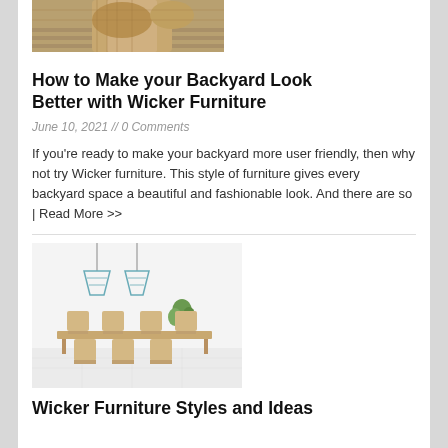[Figure (photo): Top portion of an image showing wicker/rattan outdoor furniture on a wooden deck]
How to Make your Backyard Look Better with Wicker Furniture
June 10, 2021 // 0 Comments
If you're ready to make your backyard more user friendly, then why not try Wicker furniture. This style of furniture gives every backyard space a beautiful and fashionable look. And there are so | Read More >>
[Figure (photo): A Scandinavian-style dining room with a wooden table, wooden chairs, two pendant lights, and a plant]
Wicker Furniture Styles and Ideas